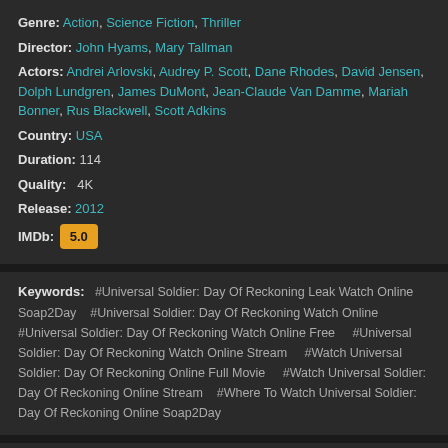Genre: Action, Science Fiction, Thriller
Director: John Hyams, Mary Tallman
Actors: Andrei Arlovski, Audrey P. Scott, Dane Rhodes, David Jensen, Dolph Lundgren, James DuMont, Jean-Claude Van Damme, Mariah Bonner, Rus Blackwell, Scott Adkins
Country: USA
Duration: 114
Quality: 4K
Release: 2012
IMDb: 5.0
Keywords: #Universal Soldier: Day Of Reckoning Leak Watch Online Soap2Day  #Universal Soldier: Day Of Reckoning Watch Online  #Universal Soldier: Day Of Reckoning Watch Online Free   #Universal Soldier: Day Of Reckoning Watch Online Stream   #Watch Universal Soldier: Day Of Reckoning Online Full Movie   #Watch Universal Soldier: Day Of Reckoning Online Stream   #Where To Watch Universal Soldier: Day Of Reckoning Online Soap2Day
[Figure (photo): Dark movie scene thumbnail showing a figure in a dimly lit environment]